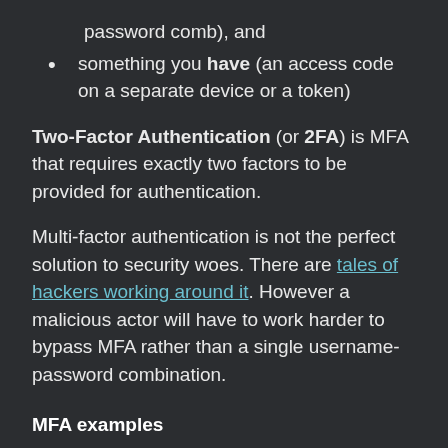password comb), and
something you have (an access code on a separate device or a token)
Two-Factor Authentication (or 2FA) is MFA that requires exactly two factors to be provided for authentication.
Multi-factor authentication is not the perfect solution to security woes. There are tales of hackers working around it. However a malicious actor will have to work harder to bypass MFA rather than a single username-password combination.
MFA examples